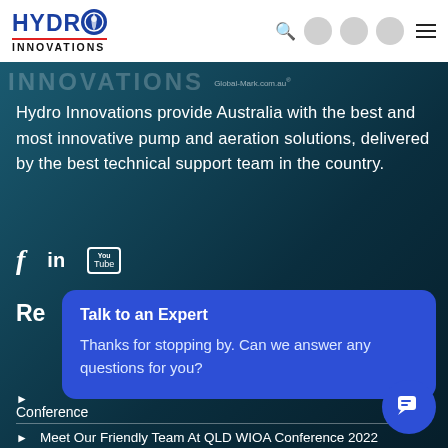Hydro Innovations — navigation bar with logo, search, social circles, hamburger menu
[Figure (logo): Hydro Innovations logo: HYDRO in blue bold with swirl icon, INNOVATIONS in black with red underline]
INNOVATIONS   Global-Mark.com.au®
Hydro Innovations provide Australia with the best and most innovative pump and aeration solutions, delivered by the best technical support team in the country.
[Figure (illustration): Social media icons: Facebook f, LinkedIn in, YouTube play button]
Re
Talk to an Expert
Thanks for stopping by. Can we answer any questions for you?
Conference
Meet Our Friendly Team At QLD WIOA Conference 2022